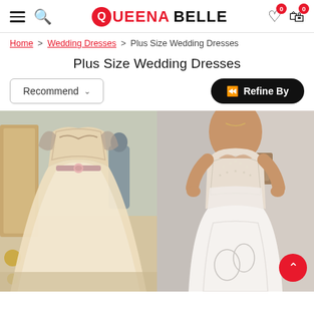Queena Belle - Navigation header with hamburger menu, search icon, logo, wishlist (0), and cart (0)
Home > Wedding Dresses > Plus Size Wedding Dresses
Plus Size Wedding Dresses
Recommend  ▾   ◄◄ Refine By
[Figure (photo): A champagne/ivory ball gown wedding dress on a mannequin in a bridal boutique, featuring lace top, sweetheart neckline, and full tulle skirt with a floral sash.]
[Figure (photo): A woman wearing a strapless fitted mermaid wedding dress with beaded lace bodice and white skirt, shown from waist up in a fitting room.]